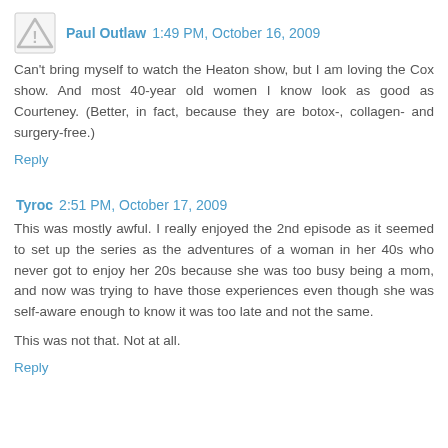Paul Outlaw 1:49 PM, October 16, 2009
Can't bring myself to watch the Heaton show, but I am loving the Cox show. And most 40-year old women I know look as good as Courteney. (Better, in fact, because they are botox-, collagen- and surgery-free.)
Reply
Tyroc 2:51 PM, October 17, 2009
This was mostly awful. I really enjoyed the 2nd episode as it seemed to set up the series as the adventures of a woman in her 40s who never got to enjoy her 20s because she was too busy being a mom, and now was trying to have those experiences even though she was self-aware enough to know it was too late and not the same.
This was not that. Not at all.
Reply